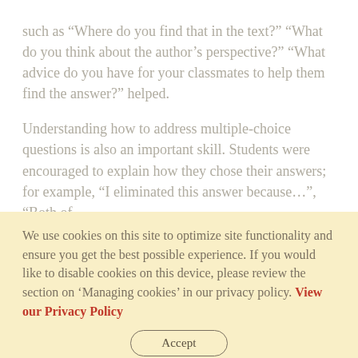such as “Where do you find that in the text?” “What do you think about the author’s perspective?” “What advice do you have for your classmates to help them find the answer?” helped.
Understanding how to address multiple-choice questions is also an important skill. Students were encouraged to explain how they chose their answers; for example, “I eliminated this answer because…”, “Both of
We use cookies on this site to optimize site functionality and ensure you get the best possible experience. If you would like to disable cookies on this device, please review the section on ‘Managing cookies’ in our privacy policy. View our Privacy Policy
Accept